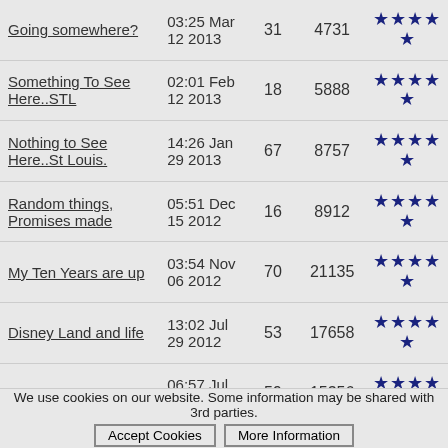| Title | Date | Comments | Views | Rating |
| --- | --- | --- | --- | --- |
| Going somewhere? | 03:25 Mar 12 2013 | 31 | 4731 | ★★★★★ |
| Something To See Here..STL | 02:01 Feb 12 2013 | 18 | 5888 | ★★★★★ |
| Nothing to See Here..St Louis. | 14:26 Jan 29 2013 | 67 | 8757 | ★★★★★ |
| Random things, Promises made | 05:51 Dec 15 2012 | 16 | 8912 | ★★★★★ |
| My Ten Years are up | 03:54 Nov 06 2012 | 70 | 21135 | ★★★★★ |
| Disney Land and life | 13:02 Jul 29 2012 | 53 | 17658 | ★★★★★ |
| So I've been thinking. | 06:57 Jul 12 2012 | 59 | 15356 | ★★★★☆ |
| Sharing and Caring... | 03:07 Jun 04 2012 | 29 | 30376 | ★★★★★ |
| Naked Esports Girls!!! | 11:31 Apr ... | 143 | 75052 | ★★★★☆ |
We use cookies on our website. Some information may be shared with 3rd parties. Accept Cookies | More Information